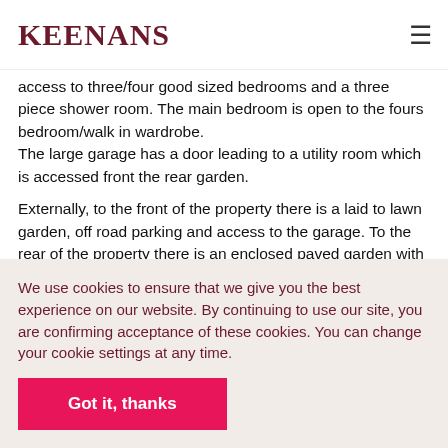KEENANS
access to three/four good sized bedrooms and a three piece shower room. The main bedroom is open to the fours bedroom/walk in wardrobe.
The large garage has a door leading to a utility room which is accessed front the rear garden.
Externally, to the front of the property there is a laid to lawn garden, off road parking and access to the garage. To the rear of the property there is an enclosed paved garden with bedding areas, mature shrubs and a gate leading to
We use cookies to ensure that we give you the best experience on our website. By continuing to use our site, you are confirming acceptance of these cookies. You can change your cookie settings at any time.
Got it, thanks